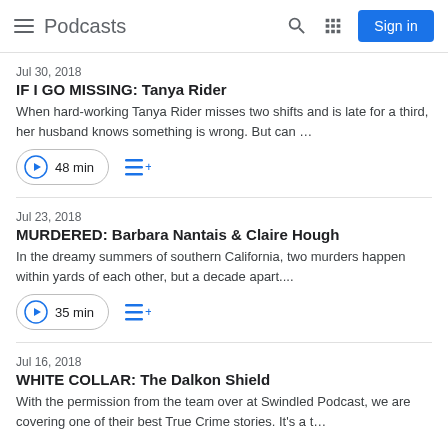Podcasts
Jul 30, 2018
IF I GO MISSING: Tanya Rider
When hard-working Tanya Rider misses two shifts and is late for a third, her husband knows something is wrong. But can …
48 min
Jul 23, 2018
MURDERED: Barbara Nantais & Claire Hough
In the dreamy summers of southern California, two murders happen within yards of each other, but a decade apart....
35 min
Jul 16, 2018
WHITE COLLAR: The Dalkon Shield
With the permission from the team over at Swindled Podcast, we are covering one of their best True Crime stories. It's a t…